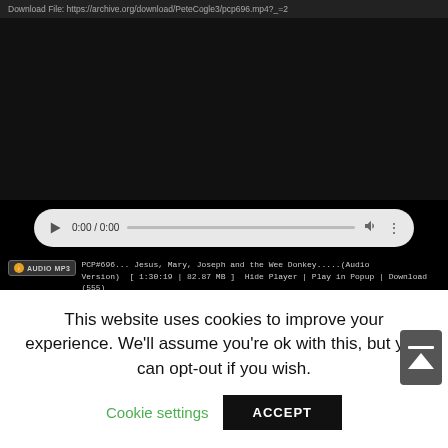[Figure (screenshot): Video player area showing a dark/black video frame with a download URL at the top: 'Download File: https://archive.org/download/PeteCogle3/pcp696.mp4?_=2']
[Figure (screenshot): HTML5 audio/video player control bar with play button, time display '0:00 / 0:00', progress bar, volume icon, and more options icon, styled with rounded pill shape on dark background]
PCP#696... Jesus, Mary, Joseph and the Wee Donkey.....(Audio Version) [ 1:30:19 | 82.87 MB ] Hide Player | Play in Popup | Download (555)
PCP#696... Jesus, Mary, Joseph and the Wee Donkey.....(Vi Version) [ 1:30:19 | 704.2 MB ] Download (162)
This website uses cookies to improve your experience. We'll assume you're ok with this, but you can opt-out if you wish.
Cookie settings
ACCEPT